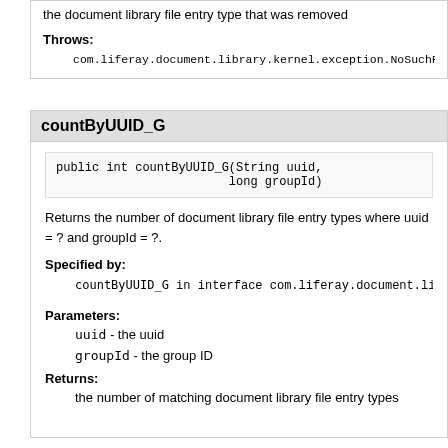the document library file entry type that was removed
Throws:
com.liferay.document.library.kernel.exception.NoSuchFil
countByUUID_G
public int countByUUID_G(String uuid,
                        long groupId)
Returns the number of document library file entry types where uuid = ? and groupId = ?.
Specified by:
countByUUID_G in interface com.liferay.document.library.kernel.service.pers
Parameters:
uuid - the uuid
groupId - the group ID
Returns:
the number of matching document library file entry types